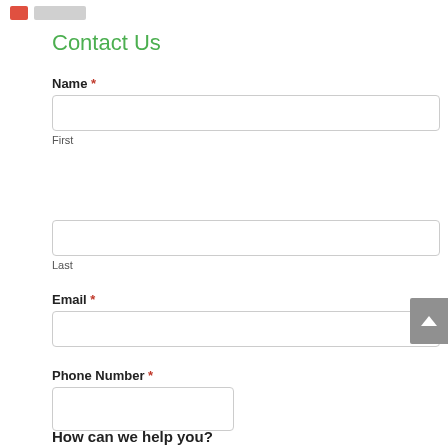Contact Us
Name *
First
Last
Email *
Phone Number *
How can we help you?